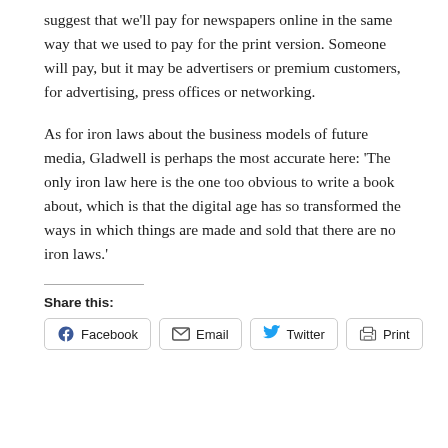suggest that we'll pay for newspapers online in the same way that we used to pay for the print version. Someone will pay, but it may be advertisers or premium customers, for advertising, press offices or networking.
As for iron laws about the business models of future media, Gladwell is perhaps the most accurate here: ‘The only iron law here is the one too obvious to write a book about, which is that the digital age has so transformed the ways in which things are made and sold that there are no iron laws.’
Share this:
[Figure (other): Social share buttons: Facebook, Email, Twitter, Print]